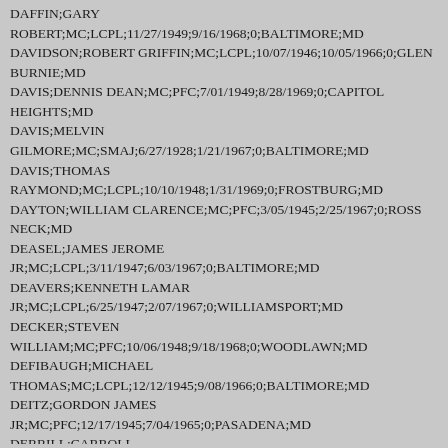DAFFIN;GARY ROBERT;MC;LCPL;11/27/1949;9/16/1968;0;BALTIMORE;MD
DAVIDSON;ROBERT GRIFFIN;MC;LCPL;10/07/1946;10/05/1966;0;GLEN BURNIE;MD
DAVIS;DENNIS DEAN;MC;PFC;7/01/1949;8/28/1969;0;CAPITOL HEIGHTS;MD
DAVIS;MELVIN GILMORE;MC;SMAJ;6/27/1928;1/21/1967;0;BALTIMORE;MD
DAVIS;THOMAS RAYMOND;MC;LCPL;10/10/1948;1/31/1969;0;FROSTBURG;MD
DAYTON;WILLIAM CLARENCE;MC;PFC;3/05/1945;2/25/1967;0;ROSS NECK;MD
DEASEL;JAMES JEROME JR;MC;LCPL;3/11/1947;6/03/1967;0;BALTIMORE;MD
DEAVERS;KENNETH LAMAR JR;MC;LCPL;6/25/1947;2/07/1967;0;WILLIAMSPORT;MD
DECKER;STEVEN WILLIAM;MC;PFC;10/06/1948;9/18/1968;0;WOODLAWN;MD
DEFIBAUGH;MICHAEL THOMAS;MC;LCPL;12/12/1945;9/08/1966;0;BALTIMORE;MD
DEITZ;GORDON JAMES JR;MC;PFC;12/17/1945;7/04/1965;0;PASADENA;MD
DERRILL;CARROLL EDWARD;MC;PFC;7/21/1948;12/08/1968;0;BALTIMORE;MD
DEVINCENT;EDWARD J JR;MC;CPL;2/27/1946;3/22/1966;0;BALTIMORE;MD
DI GENNO;MICHAEL;MC;LCPL;2/20/1948;3/11/1969;0;HULOCK;MD
DICKERSON;JAMES EGBERT;MC;PFC;7/31/1949;4/17/1968;0;COLLEGE PARK;MD